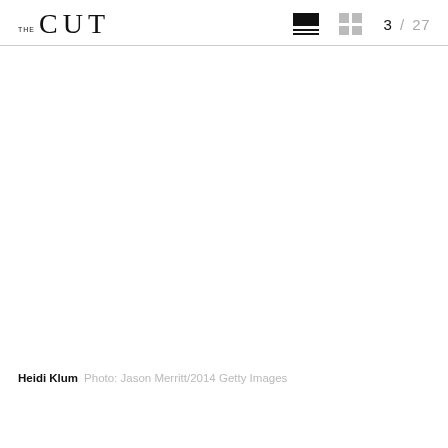THE CUT  3 / 27
[Figure (photo): Large white/blank photo area — image of Heidi Klum, content not visible (white)]
Heidi Klum  Photo: Jason Merritt/2014 Getty Images